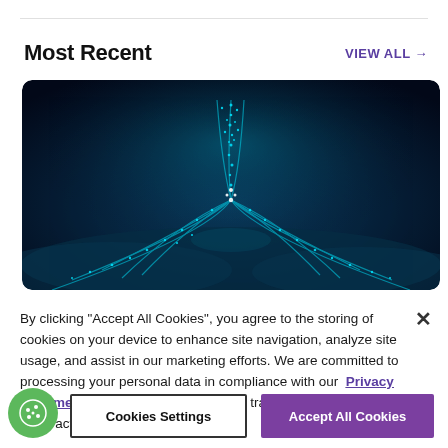Most Recent
VIEW ALL →
[Figure (photo): Dark blue digital art with glowing teal dots forming a tree-like or neural network pattern rising from a wavy surface, on a deep navy background]
By clicking "Accept All Cookies", you agree to the storing of cookies on your device to enhance site navigation, analyze site usage, and assist in our marketing efforts. We are committed to processing your personal data in compliance with our Privacy Statement while providing you with a transparent notice about our practices.
Cookies Settings
Accept All Cookies